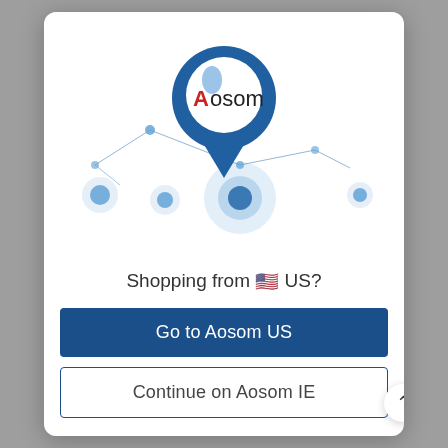[Figure (illustration): Aosom brand logo location pin icon with map network dots and connecting lines illustration]
Shopping from 🇺🇸 US?
Go to Aosom US
Continue on Aosom IE